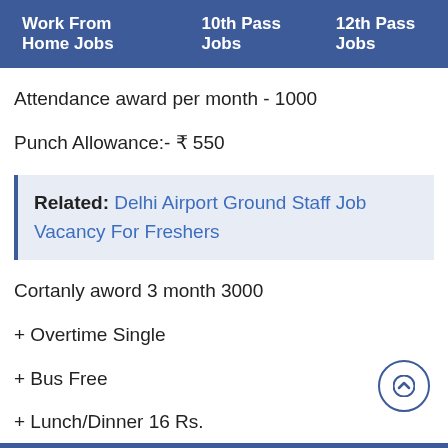Work From Home Jobs   10th Pass Jobs   12th Pass Jobs
Attendance award per month - 1000
Punch Allowance:- ₹ 550
Related: Delhi Airport Ground Staff Job Vacancy For Freshers
Cortanly aword 3 month 3000
+ Overtime Single
+ Bus Free
+ Lunch/Dinner 16 Rs.
Bus route:- Khoda, Noida sec 37, Surajpur durga tokij